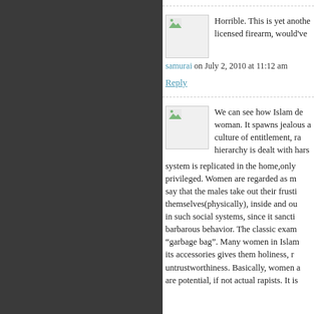[Figure (photo): User avatar thumbnail image with small green image icon]
Horrible. This is yet another licensed firearm, would've
samurai on July 2, 2010 at 11:12 am
Reply
[Figure (photo): User avatar thumbnail image with small green image icon]
We can see how Islam de woman. It spawns jealous a culture of entitlement, ra hierarchy is dealt with hars system is replicated in the home,only privileged. Women are regarded as m say that the males take out their frusti themselves(physically), inside and ou in such social systems, since it sancti barbarous behavior. The classic exam "garbage bag". Many women in Islam its accessories gives them holiness, r untrustworthiness. Basically, women a are potential, if not actual rapists. It is